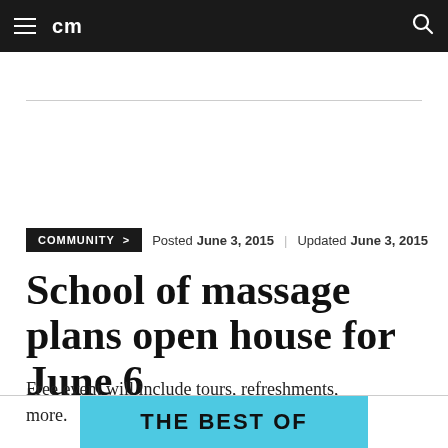cm
COMMUNITY >   Posted June 3, 2015  |  Updated June 3, 2015
School of massage plans open house for June 6
Free event will include tours, refreshments, more.
[Figure (other): Advertisement banner reading THE BEST OF in bold black text on a cyan/light blue background]